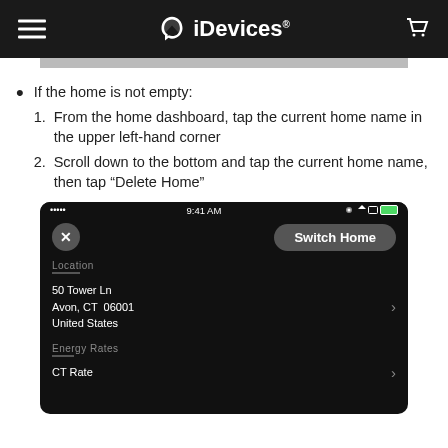iDevices
If the home is not empty:
1. From the home dashboard, tap the current home name in the upper left-hand corner
2. Scroll down to the bottom and tap the current home name, then tap “Delete Home”
[Figure (screenshot): Mobile app screenshot showing iDevices Switch Home screen with location details: 50 Tower Ln, Avon, CT 06001, United States, and Energy Rates section with CT Rate option]